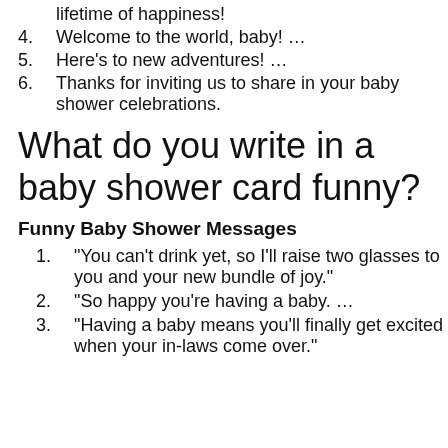lifetime of happiness!
4. Welcome to the world, baby! …
5. Here’s to new adventures! …
6. Thanks for inviting us to share in your baby shower celebrations.
What do you write in a baby shower card funny?
Funny Baby Shower Messages
1. “You can’t drink yet, so I’ll raise two glasses to you and your new bundle of joy.”
2. “So happy you’re having a baby. …
3. “Having a baby means you’ll finally get excited when your in-laws come over.”